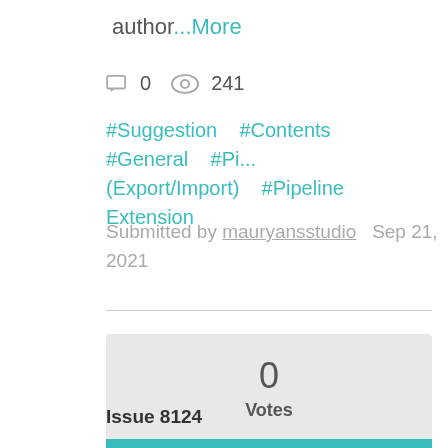author...More
0  241
#Suggestion  #Contents  #General  #Pi... (Export/Import)  #Pipeline Extension
Submitted by mauryansstudio  Sep 21, 2021
0
Votes
Active
Issue 8124